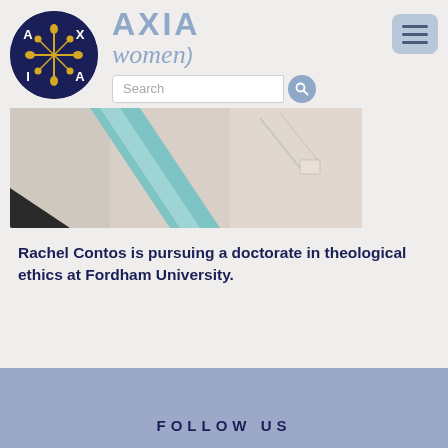[Figure (logo): AXIA Women logo: dark navy circle with stylized A X I A letters and golden floral cross design in the center]
AXIA women
[Figure (photo): Close-up photo of a person wearing a light blue/teal crossbody strap or sash across their torso, wearing a light colored shirt]
Rachel Contos is pursuing a doctorate in theological ethics at Fordham University.
FOLLOW US